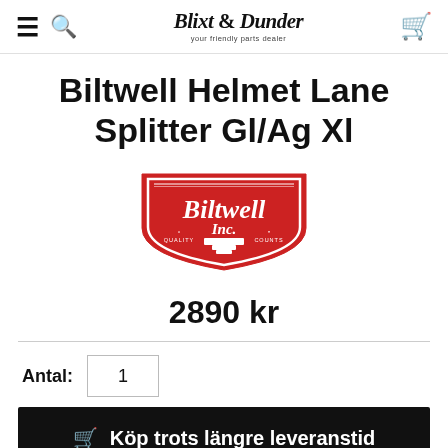Blixt & Dunder — your friendly parts dealer
Biltwell Helmet Lane Splitter Gl/Ag Xl
[Figure (logo): Biltwell Inc. red shield logo with anvil and 'Quality Counts' tagline]
2890 kr
Antal: 1
Köp trots längre leveranstid
Spara som favorit